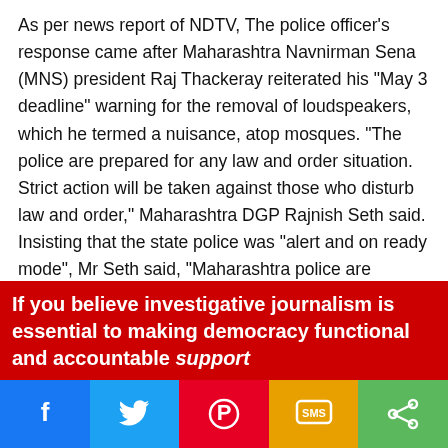As per news report of NDTV, The police officer's response came after Maharashtra Navnirman Sena (MNS) president Raj Thackeray reiterated his "May 3 deadline" warning for the removal of loudspeakers, which he termed a nuisance, atop mosques. "The police are prepared for any law and order situation. Strict action will be taken against those who disturb law and order," Maharashtra DGP Rajnish Seth said. Insisting that the state police was "alert and on ready mode", Mr Seth said, "Maharashtra police are capable of handling any kind of law-and-order situation. All police leaves have been cancelled. 87 companies of State Reserve Police Force (SRPF) and 30,000 home guards have been deployed across the state". "The police are responsible for maintaining law and
If you believe investigative journalism is essential to making democracy functional and accountable support